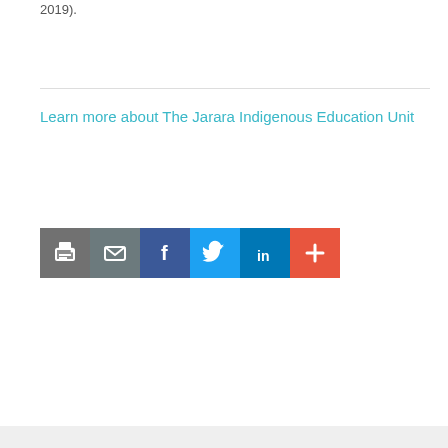2019).
Learn more about The Jarara Indigenous Education Unit
[Figure (infographic): Row of social share buttons: print (dark grey), email (grey), Facebook (dark blue), Twitter (light blue), LinkedIn (dark blue), More/Plus (orange-red)]